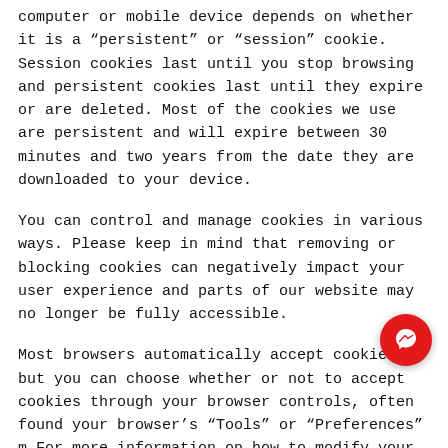computer or mobile device depends on whether it is a “persistent” or “session” cookie. Session cookies last until you stop browsing and persistent cookies last until they expire or are deleted. Most of the cookies we use are persistent and will expire between 30 minutes and two years from the date they are downloaded to your device.
You can control and manage cookies in various ways. Please keep in mind that removing or blocking cookies can negatively impact your user experience and parts of our website may no longer be fully accessible.
Most browsers automatically accept cookies, but you can choose whether or not to accept cookies through your browser controls, often found your browser’s “Tools” or “Preferences” m... For more information on how to modify your browser settings or how to block, manage or filter...